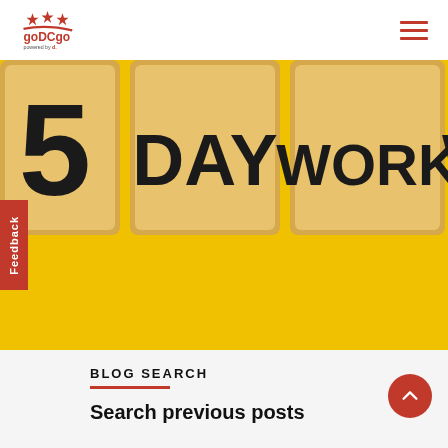goDCgo powered by d.
[Figure (photo): Wooden letter blocks spelling '5 DAY WORK WE...' on a yellow background, showing the beginning of '5 DAY WORK WEEK']
BLOG SEARCH
Search previous posts